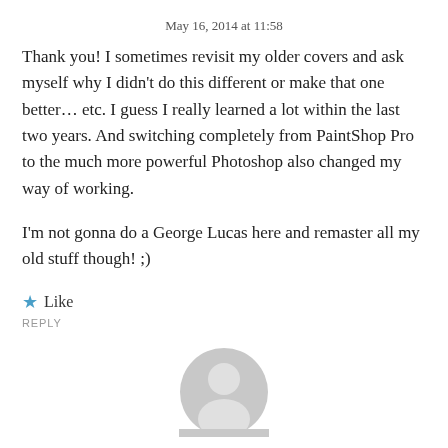May 16, 2014 at 11:58
Thank you! I sometimes revisit my older covers and ask myself why I didn't do this different or make that one better… etc. I guess I really learned a lot within the last two years. And switching completely from PaintShop Pro to the much more powerful Photoshop also changed my way of working.
I'm not gonna do a George Lucas here and remaster all my old stuff though! ;)
★ Like
REPLY
[Figure (illustration): Generic grey user avatar icon showing a person silhouette with head and shoulders]